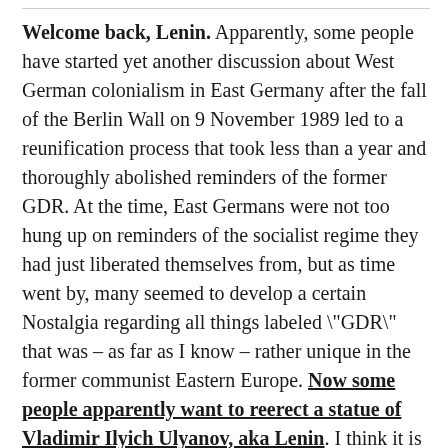Welcome back, Lenin. Apparently, some people have started yet another discussion about West German colonialism in East Germany after the fall of the Berlin Wall on 9 November 1989 led to a reunification process that took less than a year and thoroughly abolished reminders of the former GDR. At the time, East Germans were not too hung up on reminders of the socialist regime they had just liberated themselves from, but as time went by, many seemed to develop a certain Nostalgia regarding all things labeled "GDR" that was – as far as I know – rather unique in the former communist Eastern Europe. Now some people apparently want to reerect a statue of Vladimir Ilyich Ulyanov, aka Lenin. I think it is ok to have a statue of Marx in Berlin. He was wrong in many respects, but he was an important social thinker and not really responsible for the horrors others have read into his